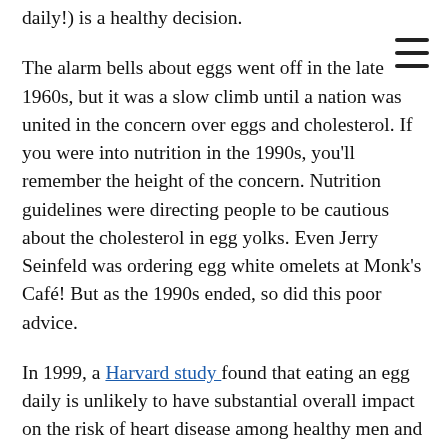daily!) is a healthy decision.
The alarm bells about eggs went off in the late 1960s, but it was a slow climb until a nation was united in the concern over eggs and cholesterol. If you were into nutrition in the 1990s, you'll remember the height of the concern. Nutrition guidelines were directing people to be cautious about the cholesterol in egg yolks. Even Jerry Seinfeld was ordering egg white omelets at Monk's Café! But as the 1990s ended, so did this poor advice.
In 1999, a Harvard study found that eating an egg daily is unlikely to have substantial overall impact on the risk of heart disease among healthy men and women. That led to a tidal wave of change, and more research has been conducted since that day. A University of Connecticut study from 2006 found that healthy populations consuming egg…